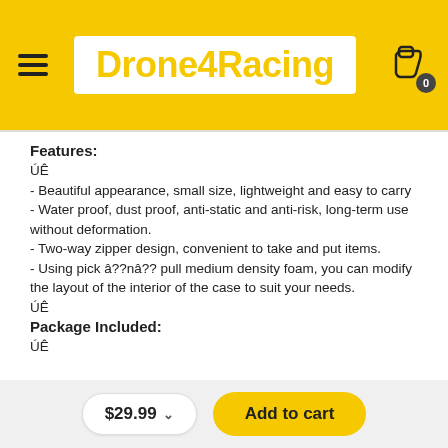Drone4Racing
Features:
ÚÊ
- Beautiful appearance, small size, lightweight and easy to carry
- Water proof, dust proof, anti-static and anti-risk, long-term use without deformation.
- Two-way zipper design, convenient to take and put items.
- Using pick â??nâ?? pull medium density foam, you can modify the layout of the interior of the case to suit your needs.
ÚÊ
Package Included:
ÚÊ
$29.99  Add to cart